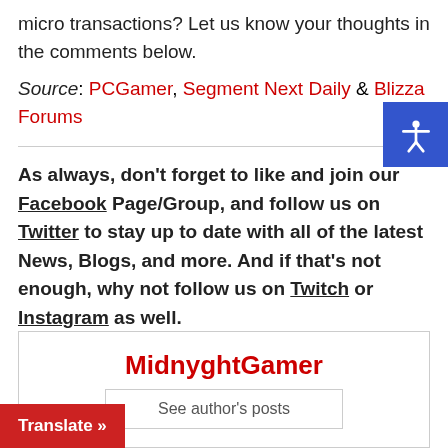micro transactions? Let us know your thoughts in the comments below.
Source: PCGamer, Segment Next Daily & Blizza Forums
As always, don't forget to like and join our Facebook Page/Group, and follow us on Twitter to stay up to date with all of the latest News, Blogs, and more. And if that's not enough, why not follow us on Twitch or Instagram as well.
MidnyghtGamer
See author's posts